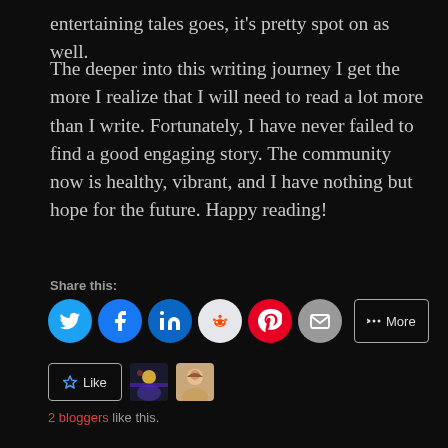entertaining tales goes, it’s pretty spot on as well.
The deeper into this writing journey I get the more I realize that I will need to read a lot more than I write. Fortunately, I have never failed to find a good engaging story. The community now is healthy, vibrant, and I have nothing but hope for the future. Happy reading!
Share this:
[Figure (infographic): Social share buttons: Twitter (blue circle), Facebook (blue circle), LinkedIn (dark blue circle), Reddit (light grey circle), Pinterest (red circle), Email (grey circle), More button (outlined rectangle)]
[Figure (infographic): Like button with star icon, two avatar thumbnails next to it]
2 bloggers like this.